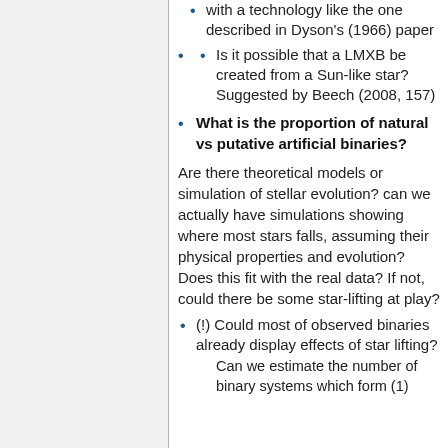with a technology like the one described in Dyson's (1966) paper
Is it possible that a LMXB be created from a Sun-like star? Suggested by Beech (2008, 157)
What is the proportion of natural vs putative artificial binaries?
Are there theoretical models or simulation of stellar evolution? can we actually have simulations showing where most stars falls, assuming their physical properties and evolution? Does this fit with the real data? If not, could there be some star-lifting at play?
(!) Could most of observed binaries already display effects of star lifting?
Can we estimate the number of binary systems which form (1)